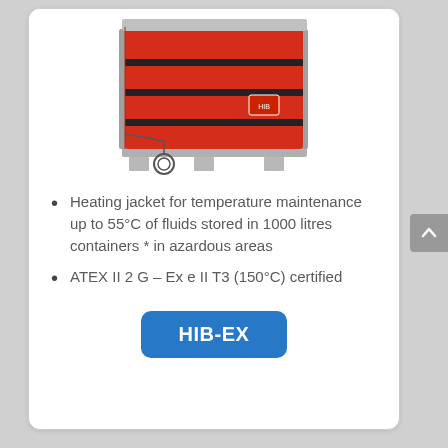[Figure (photo): Red heating jacket (IBC heater) wrapped around a 1000-litre container on a metal pallet, with a temperature sensor cable coiled in front.]
Heating jacket for temperature maintenance up to 55°C of fluids stored in 1000 litres containers * in azardous areas
ATEX II 2 G – Ex e II T3 (150°C) certified
HIB-EX